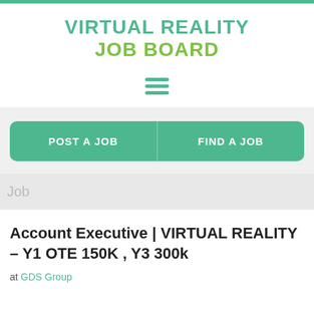VIRTUAL REALITY JOB BOARD
[Figure (other): Hamburger menu icon with three horizontal green lines]
POST A JOB
FIND A JOB
Job
Account Executive | VIRTUAL REALITY – Y1 OTE 150K , Y3 300k
at GDS Group